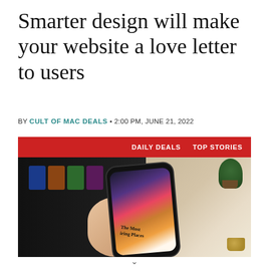Smarter design will make your website a love letter to users
BY CULT OF MAC DEALS • 2:00 PM, JUNE 21, 2022
[Figure (photo): A hand holding a smartphone displaying a travel app with 'The Most Inspiring Places' text, with a laptop showing design mockups in the background and a plant and coffee cup on a desk.]